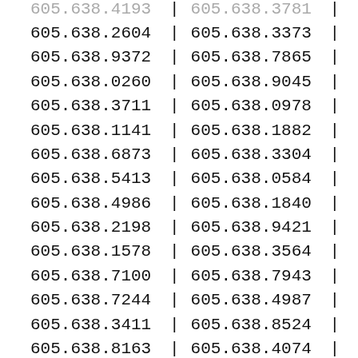| Column1 | Column2 |
| --- | --- |
| 605.638.4193 | 605.638.3781 |
| 605.638.2604 | 605.638.3373 |
| 605.638.9372 | 605.638.7865 |
| 605.638.0260 | 605.638.9045 |
| 605.638.3711 | 605.638.0978 |
| 605.638.1141 | 605.638.1882 |
| 605.638.6873 | 605.638.3304 |
| 605.638.5413 | 605.638.0584 |
| 605.638.4986 | 605.638.1840 |
| 605.638.2198 | 605.638.9421 |
| 605.638.1578 | 605.638.3564 |
| 605.638.7100 | 605.638.7943 |
| 605.638.7244 | 605.638.4987 |
| 605.638.3411 | 605.638.8524 |
| 605.638.8163 | 605.638.4074 |
| 605.638.4693 | 605.638.6242 |
| 605.638.0785 | 605.638.7931 |
| 605.638.4895 | 605.638.5949 |